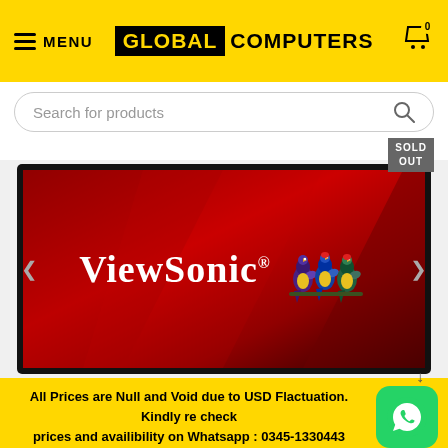MENU | GLOBAL COMPUTERS | Cart 0
Search for products
SOLD OUT
[Figure (photo): ViewSonic monitor with red background displaying the ViewSonic brand logo with three colorful birds]
All Prices are Null and Void due to USD Flactuation. Kindly re check prices and availibility on Whatsapp : 0345-1330443